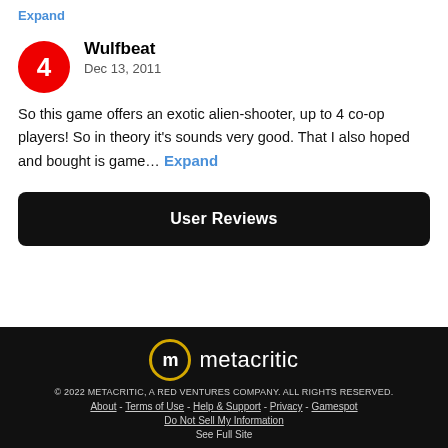Expand
Wulfbeat
Dec 13, 2011
So this game offers an exotic alien-shooter, up to 4 co-op players! So in theory it's sounds very good. That I also hoped and bought is game… Expand
User Reviews
[Figure (logo): Metacritic logo — circular m icon with gold border and 'metacritic' text in white]
© 2022 METACRITIC, A RED VENTURES COMPANY. ALL RIGHTS RESERVED.
About - Terms of Use - Help & Support - Privacy - Gamespot
Do Not Sell My Information
See Full Site